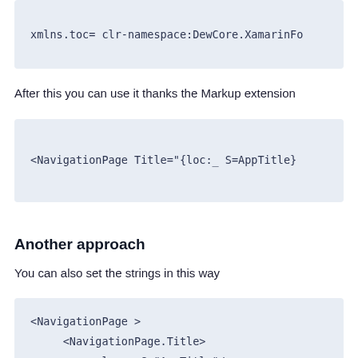[Figure (screenshot): Code block showing partial line: xmlns.toc= clr-namespace:DewCore.XamarinFo]
After this you can use it thanks the Markup extension
[Figure (screenshot): Code block showing: <NavigationPage Title="{loc:_ S=AppTitle}]
Another approach
You can also set the strings in this way
[Figure (screenshot): Code block showing:
<NavigationPage >
    <NavigationPage.Title>
        <loc:_ S="AppTitle"/>
    </NavigationPage.Title>
    <NavigationPage.Icon>]